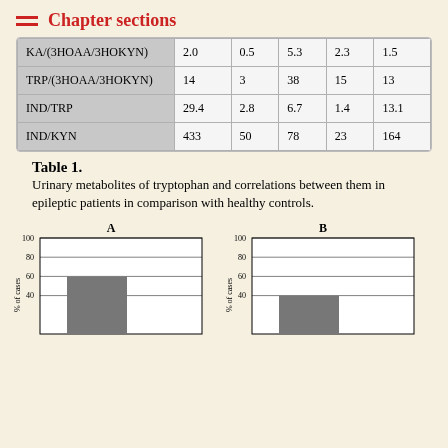Chapter sections
| KA/(3HOAA/3HOKYN) | 2.0 | 0.5 | 5.3 | 2.3 | 1.5 |
| TRP/(3HOAA/3HOKYN) | 14 | 3 | 38 | 15 | 13 |
| IND/TRP | 29.4 | 2.8 | 6.7 | 1.4 | 13.1 |
| IND/KYN | 433 | 50 | 78 | 23 | 164 |
Table 1. Urinary metabolites of tryptophan and correlations between them in epileptic patients in comparison with healthy controls.
[Figure (bar-chart): Bar chart A showing % of cases, bar approximately at 60]
[Figure (bar-chart): Bar chart B showing % of cases, bar approximately at 40]